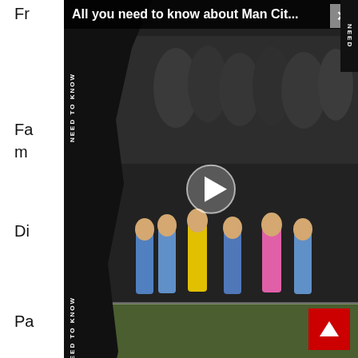[Figure (screenshot): Video overlay with title 'All you need to know about Man Cit...' showing a football/soccer scene with players and crowd. Has a close button (X), NEED TO KNOW sidebar labels, and a play button in the center.]
dominated large parts of the game.
Giggs – 7 Class first half display, took the game away from Leeds.
Berbatov – 6 Slightly disappointing in a rare chance to impress. Played well at centre half!
Owen – 8 MOTM Two brilliant goals and showed worth as 5th choice striker.